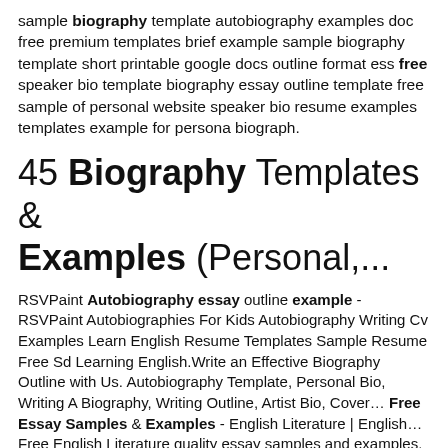sample biography template autobiography examples doc free premium templates brief example sample biography template short printable google docs outline format ess free speaker bio template biography essay outline template free sample of personal website speaker bio resume examples templates example for persona biograph.
45 Biography Templates & Examples (Personal,...
RSVPaint Autobiography essay outline example - RSVPaint Autobiographies For Kids Autobiography Writing Cv Examples Learn English Resume Templates Sample Resume Free Sd Learning English.Write an Effective Biography Outline with Us. Autobiography Template, Personal Bio, Writing A Biography, Writing Outline, Artist Bio, Cover... Free Essay Samples & Examples - English Literature | English... Free English Literature quality essay samples and examples. These illustrate good writing